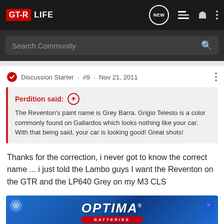GT-R LIFE
Search Community
Discussion Starter · #9 · Nov 21, 2011
Perdition said: The Reventon's paint name is Grey Barra. Grigio Telesto is a color commonly found on Gallardos which looks nothing like your car. With that being said, your car is looking good! Great shots!
Thanks for the correction, i never got to know the correct name ... i just told the Lambo guys I want the Reventon on the GTR and the LP640 Grey on my M3 CLS
[Figure (screenshot): Optima Batteries advertisement banner with blue gradient background]